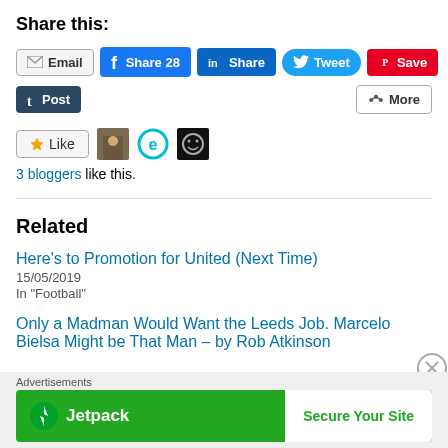Share this:
[Figure (screenshot): Social sharing buttons row: Email, Facebook Share 28, LinkedIn Share, Twitter Tweet, Pinterest Save]
[Figure (screenshot): Second row of sharing buttons: Tumblr Post, More]
[Figure (screenshot): Like button and 3 blogger avatars]
3 bloggers like this.
Related
Here's to Promotion for United (Next Time)
15/05/2019
In "Football"
Only a Madman Would Want the Leeds Job. Marcelo Bielsa Might be That Man – by Rob Atkinson
[Figure (screenshot): Jetpack advertisement banner with Secure Your Site button]
Advertisements